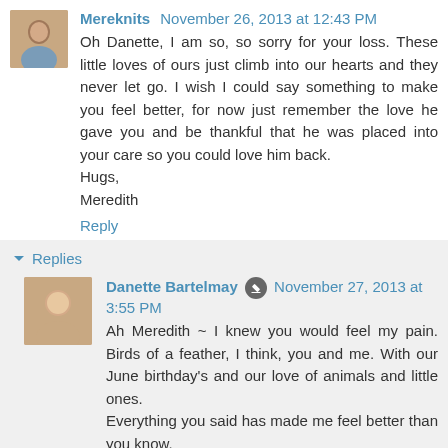Mereknits  November 26, 2013 at 12:43 PM
Oh Danette, I am so, so sorry for your loss. These little loves of ours just climb into our hearts and they never let go. I wish I could say something to make you feel better, for now just remember the love he gave you and be thankful that he was placed into your care so you could love him back.
Hugs,
Meredith
Reply
Replies
Danette Bartelmay  November 27, 2013 at 3:55 PM
Ah Meredith ~ I knew you would feel my pain. Birds of a feather, I think, you and me. With our June birthday's and our love of animals and little ones.
Everything you said has made me feel better than you know.